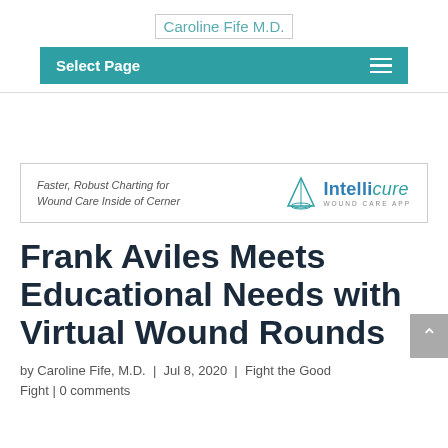Caroline Fife M.D.
Select Page
[Figure (logo): Intellicure Wound Care App advertisement banner: 'Faster, Robust Charting for Wound Care Inside of Cerner' with Intellicure logo and sailboat icon]
Frank Aviles Meets Educational Needs with Virtual Wound Rounds
by Caroline Fife, M.D. | Jul 8, 2020 | Fight the Good Fight | 0 comments